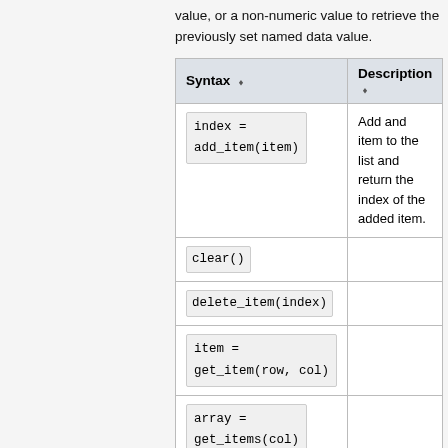value, or a non-numeric value to retrieve the previously set named data value.
| Syntax | Description |
| --- | --- |
| index =
add_item(item) | Add and item to the list and return the index of the added item. |
| clear() |  |
| delete_item(index) |  |
| item =
get_item(row, col) |  |
| array =
get_items(col) |  |
| set_item(row, col,
value) |  |
| sort(type, col) | 0 = alpha-numeric by value, 1 = numeric by value |